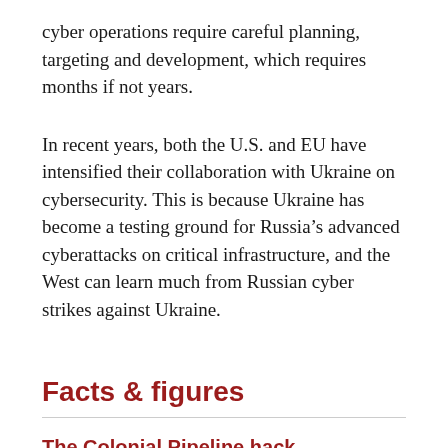cyber operations require careful planning, targeting and development, which requires months if not years.
In recent years, both the U.S. and EU have intensified their collaboration with Ukraine on cybersecurity. This is because Ukraine has become a testing ground for Russia's advanced cyberattacks on critical infrastructure, and the West can learn much from Russian cyber strikes against Ukraine.
Facts & figures
The Colonial Pipeline hack